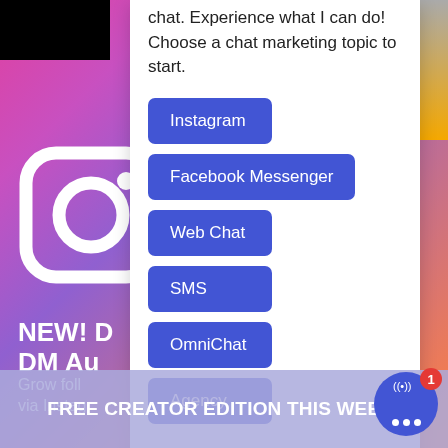[Figure (screenshot): Background gradient from pink/purple to orange with Instagram logo icon, NEW! DM Au... text, Grow foll... via Instag... text, and a white chat panel overlay with topic buttons and bottom banner]
chat. Experience what I can do! Choose a chat marketing topic to start.
Instagram
Facebook Messenger
Web Chat
SMS
OmniChat
Agency
FREE CREATOR EDITION THIS WEEK!